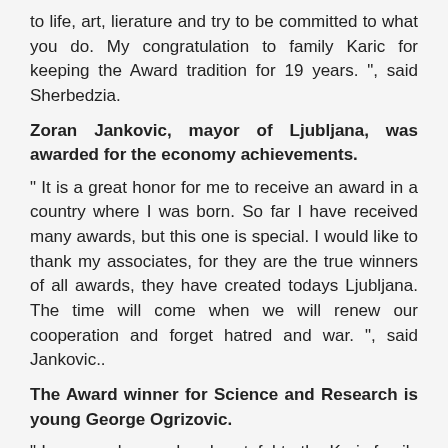to life, art, lierature and try to be committed to what you do. My congratulation to family Karic for keeping the Award tradition for 19 years. ", said Sherbedzia.
Zoran Jankovic, mayor of Ljubljana, was awarded for the economy achievements.
" It is a great honor for me to receive an award in a country where I was born. So far I have received many awards, but this one is special. I would like to thank my associates, for they are the true winners of all awards, they have created todays Ljubljana. The time will come when we will renew our cooperation and forget hatred and war. ", said Jankovic..
The Award winner for Science and Research is young George Ogrizovic.
" I am very honored and grateful to the Karic family for this Award because they have recognized efforts and work of young people even though we are only at the beginning of our venture. This prize is my reward for all my elementary and secondary schools achievements, but also it is a reward